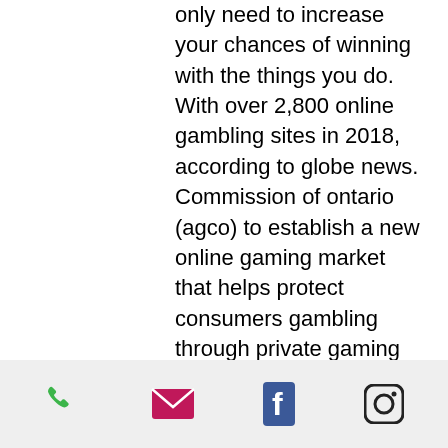only need to increase your chances of winning with the things you do. With over 2,800 online gambling sites in 2018, according to globe news. Commission of ontario (agco) to establish a new online gaming market that helps protect consumers gambling through private gaming companies (operators). Create a scr888/kiss918 loginhow to register 918kiss login id? 1. This is the perfect place to play casino games online and win. How to apply for permission to promote online gaming or gambling. My facebook account, page, or business manager account has advertising restrictions. With such a browser extension, you can create the strongest password. But also to create better conditions for it to flourish
dont't forget, all of the casinos offering the slots on this page will offer you a welcome
phone | email | facebook | instagram icons